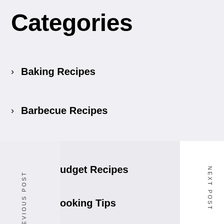Categories
> Baking Recipes
> Barbecue Recipes
> Budget Recipes
> Cooking Tips
> Easy Recipes
> Good Recipes
> Healthy Recipes
> Picnic Recipes
PREVIOUS POST
NEXT POST